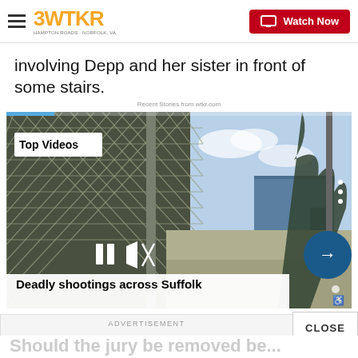3WTKR | Watch Now
involving Depp and her sister in front of some stairs.
Recent Stories from wtkr.com
[Figure (screenshot): Video player showing a chain-link fence scene with the headline 'Deadly shootings across Suffolk'. Includes Top Videos badge, pause and mute controls, next arrow button, and progress bar.]
CLOSE
ADVERTISEMENT
Should the jury be removed be...